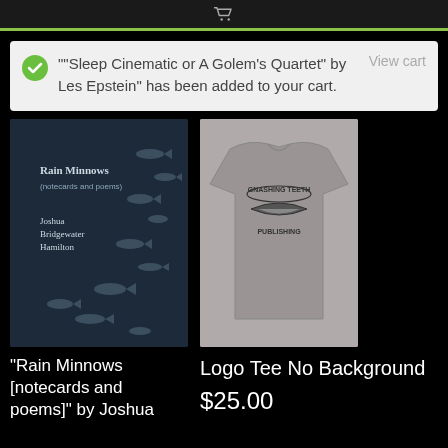""Sleep Cinematic or A Golem's Quartet" by Les Epstein" has been added to your cart.
View cart
[Figure (photo): Book cover for Rain Minnows (notecards and poems) by Joshua Bridgewater Hamilton, dark blue background with fish silhouettes]
"Rain Minnows [notecards and poems]" by Joshua
[Figure (photo): Gray t-shirt with Gnashing Teeth Publishing logo on the back]
Logo Tee No Background
$25.00